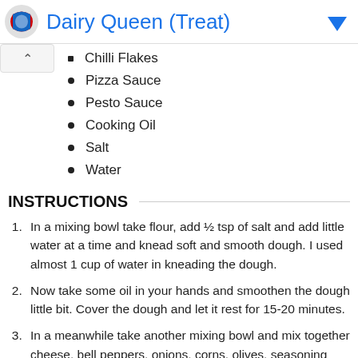Dairy Queen (Treat)
Chilli Flakes
Pizza Sauce
Pesto Sauce
Cooking Oil
Salt
Water
INSTRUCTIONS
In a mixing bowl take flour, add ½ tsp of salt and add little water at a time and knead soft and smooth dough. I used almost 1 cup of water in kneading the dough.
Now take some oil in your hands and smoothen the dough little bit. Cover the dough and let it rest for 15-20 minutes.
In a meanwhile take another mixing bowl and mix together cheese, bell peppers, onions, corns, olives, seasoning and little salt and keep it aside.
After 20 minutes, take small portion of the dough and